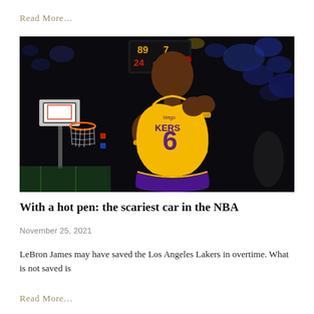Read More…
[Figure (photo): LeBron James in Los Angeles Lakers yellow #6 jersey, pulling on his jersey collar, looking down, with a basketball hoop and scoreboard visible in the dark arena background.]
With a hot pen: the scariest car in the NBA
November 25, 2021
LeBron James may have saved the Los Angeles Lakers in overtime. What is not saved is
Read More…